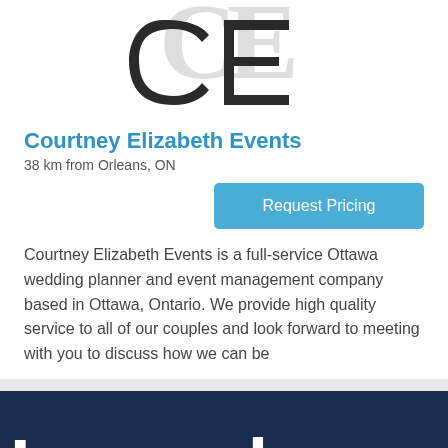[Figure (logo): Courtney Elizabeth Events logo — large stylized 'CE' monogram in dark charcoal, decorative serif letterforms]
Courtney Elizabeth Events
38 km from Orleans, ON
Request Pricing
Courtney Elizabeth Events is a full-service Ottawa wedding planner and event management company based in Ottawa, Ontario. We provide high quality service to all of our couples and look forward to meeting with you to discuss how we can be
[Figure (logo): Legend logo — white bold rounded sans-serif text 'Legend' on dark navy background, partially cropped]